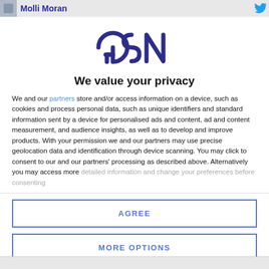Molli Moran
[Figure (logo): GSN logo in dark purple/navy lettering]
We value your privacy
We and our partners store and/or access information on a device, such as cookies and process personal data, such as unique identifiers and standard information sent by a device for personalised ads and content, ad and content measurement, and audience insights, as well as to develop and improve products. With your permission we and our partners may use precise geolocation data and identification through device scanning. You may click to consent to our and our partners' processing as described above. Alternatively you may access more detailed information and change your preferences before consenting
AGREE
MORE OPTIONS